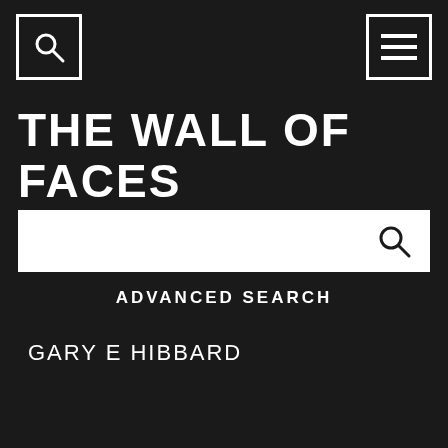[Figure (screenshot): Search icon (magnifying glass) inside a white-bordered square box in the top-left corner]
[Figure (screenshot): Menu/hamburger icon (three horizontal lines) inside a white-bordered square box in the top-right corner]
THE WALL OF FACES
[Figure (screenshot): White search bar with a magnifying glass icon on the right side]
ADVANCED SEARCH
GARY E HIBBARD